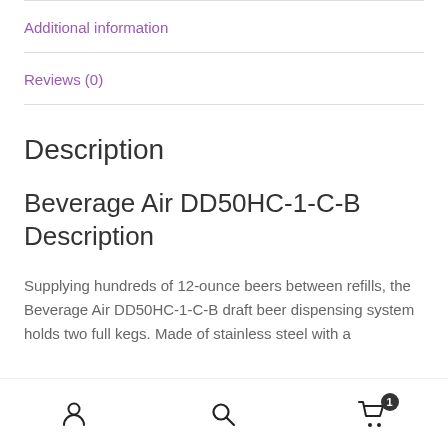Additional information
Reviews (0)
Description
Beverage Air DD50HC-1-C-B Description
Supplying hundreds of 12-ounce beers between refills, the Beverage Air DD50HC-1-C-B draft beer dispensing system holds two full kegs. Made of stainless steel with a